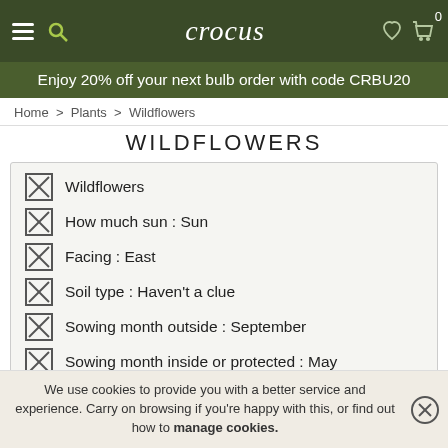crocus
Enjoy 20% off your next bulb order with code CRBU20
Home > Plants > Wildflowers
WILDFLOWERS
Wildflowers
How much sun : Sun
Facing : East
Soil type : Haven't a clue
Sowing month outside : September
Sowing month inside or protected : May
Flower colour : Purple
We use cookies to provide you with a better service and experience. Carry on browsing if you're happy with this, or find out how to manage cookies.